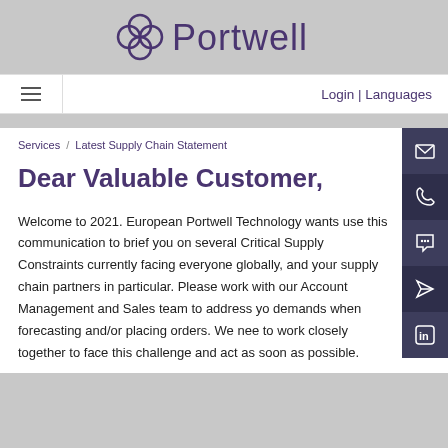[Figure (logo): Portwell logo with flower/clover icon and text 'Portwell' in purple]
Login | Languages
Services / Latest Supply Chain Statement
Dear Valuable Customer,
Welcome to 2021. European Portwell Technology wants use this communication to brief you on several Critical Supply Constraints currently facing everyone globally, and your supply chain partners in particular. Please work with our Account Management and Sales team to address yo demands when forecasting and/or placing orders. We nee to work closely together to face this challenge and act as soon as possible.